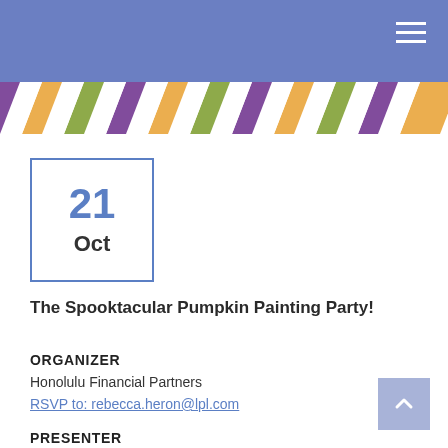[Figure (illustration): Decorative diagonal stripe banner with repeating diamond/parallelogram shapes in purple, orange, olive green, and purple colors on white background]
21
Oct
The Spooktacular Pumpkin Painting Party!
ORGANIZER
Honolulu Financial Partners
RSVP to: rebecca.heron@lpl.com
PRESENTER